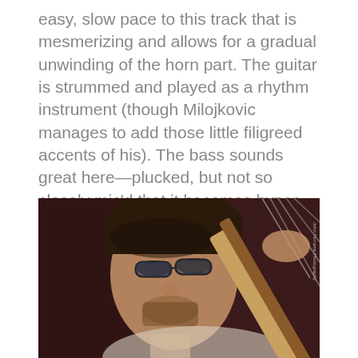easy, slow pace to this track that is mesmerizing and allows for a gradual unwinding of the horn part. The guitar is strummed and played as a rhythm instrument (though Milojkovic manages to add those little filigreed accents of his). The bass sounds great here—plucked, but not so closely mic'd that it becomes hyper-real. It sounds more like what a bass sounds like in a real space.
[Figure (photo): A man with glasses and dark hair playing a guitar, shown in close-up against a dark reddish-brown background. A photo credit reads 'John Ferrante Photography' along the right edge.]